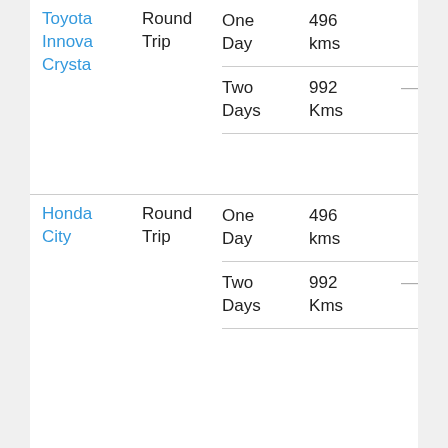| Car | Trip Type | Duration | Distance |  |
| --- | --- | --- | --- | --- |
| Toyota Innova Crysta | Round Trip | One Day | 496 kms |  |
|  |  | Two Days | 992 Kms | — |
| Honda City | Round Trip | One Day | 496 kms |  |
|  |  | Two Days | 992 Kms | — |